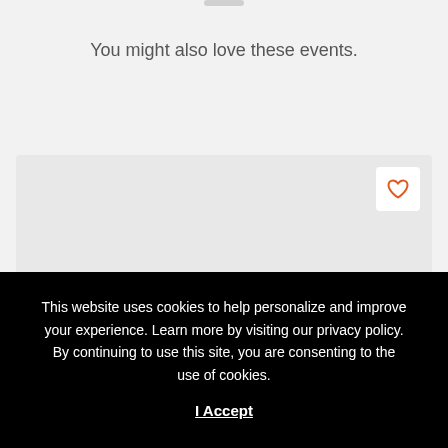You might also love these events.
[Figure (other): Event card placeholder area with a heart/favorite button in the top right corner]
This website uses cookies to help personalize and improve your experience. Learn more by visiting our privacy policy. By continuing to use this site, you are consenting to the use of cookies. I Accept